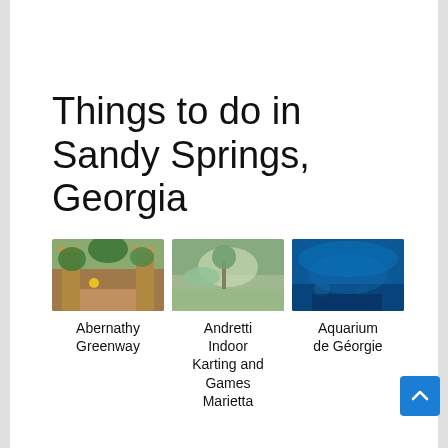Things to do in Sandy Springs, Georgia
[Figure (photo): Outdoor park entrance with brick pillars and green trees — Abernathy Greenway]
Abernathy Greenway
[Figure (photo): Indoor karting facility with go-kart track — Andretti Indoor Karting and Games Marietta]
Andretti Indoor Karting and Games Marietta
[Figure (photo): Underwater aquarium scene with blue lighting — Aquarium de Géorgie]
Aquarium de Géorgie
[Figure (photo): Lush green botanical garden with waterfall — Atlanta Botanical]
Atlanta Botanical
[Figure (photo): Group of people posing together — Bad Axe Throwing]
Bad Axe Throwing
[Figure (photo): Menu or document on table — Battle and Brew]
Battle and Brew